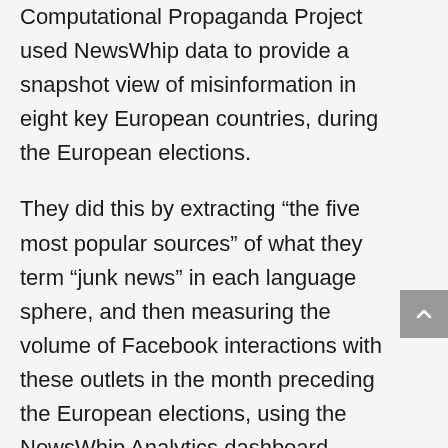The Oxford Internet Institute's Computational Propaganda Project used NewsWhip data to provide a snapshot view of misinformation in eight key European countries, during the European elections.
They did this by extracting “the five most popular sources” of what they term “junk news” in each language sphere, and then measuring the volume of Facebook interactions with these outlets in the month preceding the European elections, using the NewsWhip Analytics dashboard.